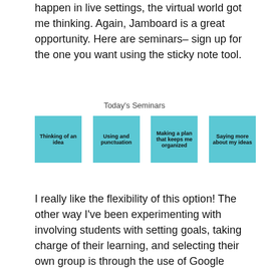happen in live settings, the virtual world got me thinking. Again, Jamboard is a great opportunity. Here are seminars– sign up for the one you want using the sticky note tool.
Today's Seminars
[Figure (infographic): Four cyan sticky notes labeled: 'Thinking of an idea', 'Using and punctuation', 'Making a plan that keeps me organized', 'Saying more about my ideas']
I really like the flexibility of this option! The other way I've been experimenting with involving students with setting goals, taking charge of their learning, and selecting their own group is through the use of Google Forms, another tool that offers SO many important uses. Here's a survey I've created that asks students